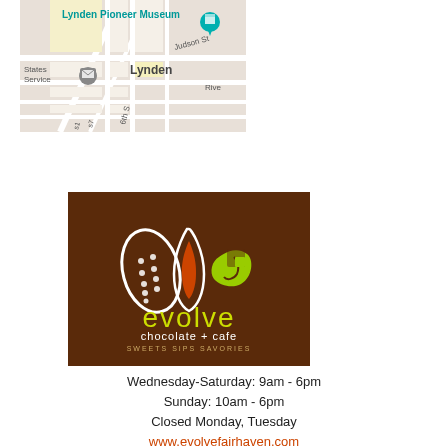[Figure (map): Google Maps screenshot showing Lynden Pioneer Museum location in Lynden, WA with a teal map pin and nearby streets including Judson St, 6th St]
[Figure (logo): Evolve Chocolate + Cafe logo on dark brown background with stylized leaf/cacao pod design in white, orange, and lime green colors. Text reads 'evolve chocolate + cafe SWEETS SIPS SAVORIES']
Wednesday-Saturday: 9am - 6pm
Sunday: 10am - 6pm
Closed Monday, Tuesday
www.evolvefairhaven.com